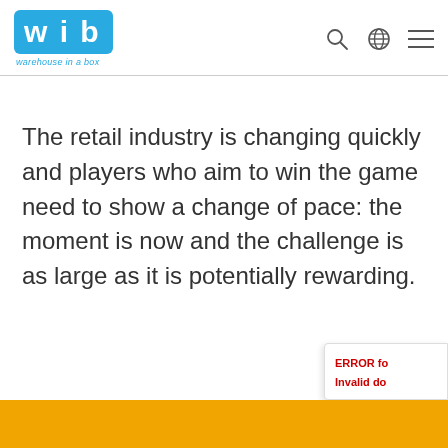[Figure (logo): WIB - warehouse in a box logo with blue background, white bold letters W I B, and tagline 'warehouse in a box' in blue italic below]
The retail industry is changing quickly and players who aim to win the game need to show a change of pace: the moment is now and the challenge is as large as it is potentially rewarding.
ERROR for
Invalid do